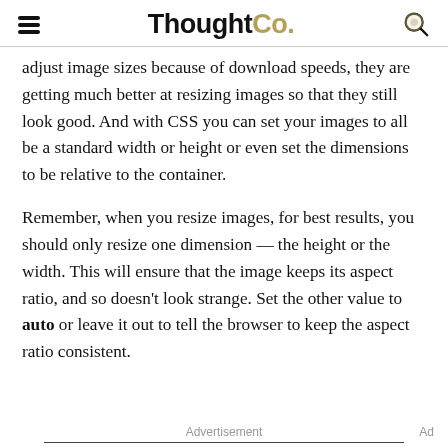ThoughtCo.
adjust image sizes because of download speeds, they are getting much better at resizing images so that they still look good. And with CSS you can set your images to all be a standard width or height or even set the dimensions to be relative to the container.
Remember, when you resize images, for best results, you should only resize one dimension — the height or the width. This will ensure that the image keeps its aspect ratio, and so doesn't look strange. Set the other value to auto or leave it out to tell the browser to keep the aspect ratio consistent.